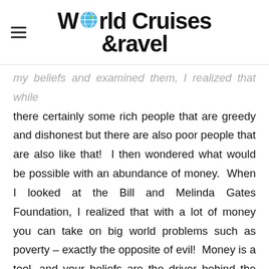World Cruises & Travel
my beliefs and examined them, I realized that while there certainly some rich people that are greedy and dishonest but there are also poor people that are also like that!  I then wondered what would be possible with an abundance of money.  When I looked at the Bill and Melinda Gates Foundation, I realized that with a lot of money you can take on big world problems such as poverty – exactly the opposite of evil!  Money is a tool, and your beliefs are the driver behind the tool.  The question is - do you want to be Mario Andretti or a little old lady white-knuckling the steering wheel?
Look at these statements and see which seem to ring